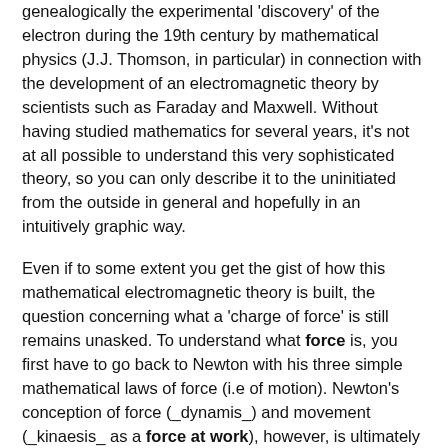genealogically the experimental 'discovery' of the electron during the 19th century by mathematical physics (J.J. Thomson, in particular) in connection with the development of an electromagnetic theory by scientists such as Faraday and Maxwell. Without having studied mathematics for several years, it's not at all possible to understand this very sophisticated theory, so you can only describe it to the uninitiated from the outside in general and hopefully in an intuitively graphic way.
Even if to some extent you get the gist of how this mathematical electromagnetic theory is built, the question concerning what a 'charge of force' is still remains unasked. To understand what force is, you first have to go back to Newton with his three simple mathematical laws of force (i.e of motion). Newton's conception of force (_dynamis_) and movement (_kinaesis_ as a force at work), however, is ultimately Aristotelean. He adopted and merely mathematized the Aristotelean ontology of movement, at whose centre the concept of energy (_en-erg-eia_) stands. Greek philosophy from Parmenides to Aristtole grappled with the question, "Why is there movement at all, rather than standstill?" Modern science cleverly evades such an